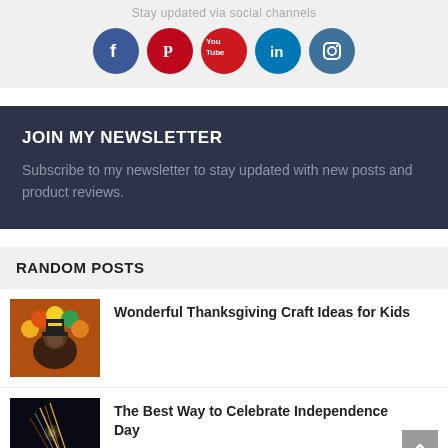Stay updated via social channels
[Figure (infographic): Five social media icons in circles: Facebook (dark blue), Pinterest (dark red), YouTube (red), LinkedIn (blue), Instagram (teal/blue)]
JOIN MY NEWSLETTER
Subscribe to my newsletter to stay updated with new posts and product reviews.
RANDOM POSTS
[Figure (photo): Thanksgiving turkey craft made from colorful balloons and clay, with a pilgrim hat]
Wonderful Thanksgiving Craft Ideas for Kids
[Figure (photo): Nighttime sparklers photo for Independence Day]
The Best Way to Celebrate Independence Day